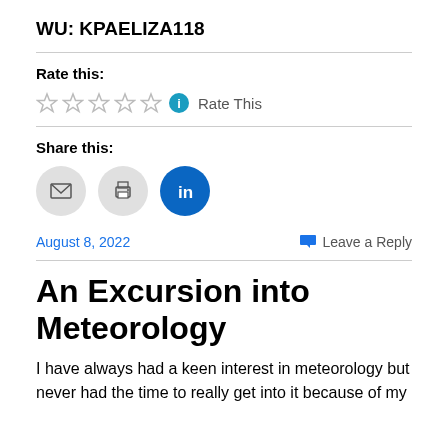WU: KPAELIZA118
Rate this:
Rate This
Share this:
August 8, 2022
Leave a Reply
An Excursion into Meteorology
I have always had a keen interest in meteorology but never had the time to really get into it because of my